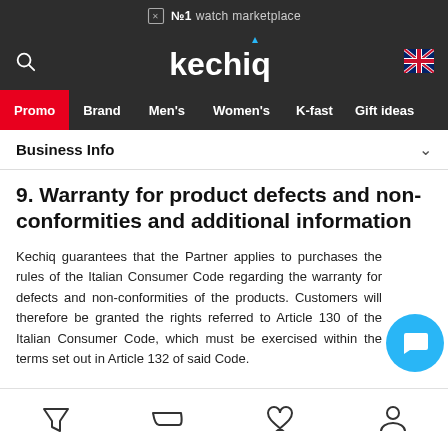№1 watch marketplace
[Figure (logo): Kechiq logo with UK flag icon]
Promo | Brand | Men's | Women's | K-fast | Gift ideas
Business Info
9. Warranty for product defects and non-conformities and additional information
Kechiq guarantees that the Partner applies to purchases the rules of the Italian Consumer Code regarding the warranty for defects and non-conformities of the products. Customers will therefore be granted the rights referred to Article 130 of the Italian Consumer Code, which must be exercised within the terms set out in Article 132 of said Code.